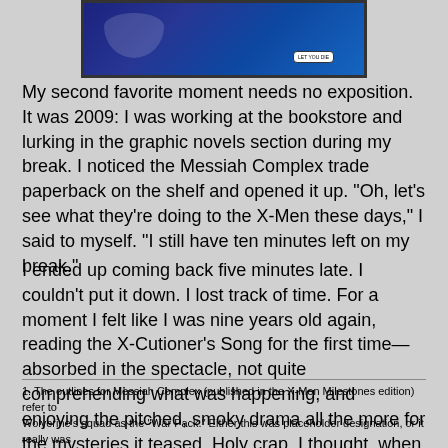[Figure (illustration): Comic book panel showing characters in blue/dark tones with a speech bubble]
My second favorite moment needs no exposition. It was 2009: I was working at the bookstore and lurking in the graphic novels section during my break. I noticed the Messiah Complex trade paperback on the shelf and opened it up. "Oh, let's see what they're doing to the X-Men these days," I said to myself. "I still have ten minutes left on my break."
I ended up coming back five minutes late. I couldn't put it down. I lost track of time. For a moment I felt like I was nine years old again, reading the X-Cutioner's Song for the first time—absorbed in the spectacle, not quite comprehending what was happening, and enjoying the pitched, smoky drama all the more for the mysteries it teased. Holy crap, I thought, when did X-Men comics get good again?
1. The outlines for Messiah Complex (published in the X-Men Milestones edition) refer to Wolverine's squad as the "War Pack." Either this was placeholder designation, or it really was